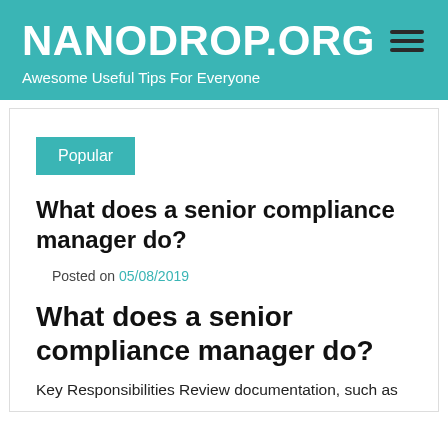NANODROP.ORG — Awesome Useful Tips For Everyone
Popular
What does a senior compliance manager do?
Posted on 05/08/2019
What does a senior compliance manager do?
Key Responsibilities Review documentation, such as